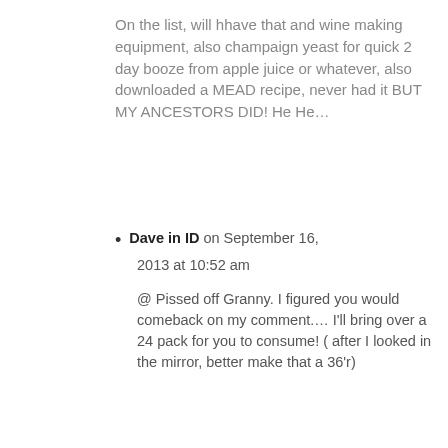On the list, will hhave that and wine making equipment, also champaign yeast for quick 2 day booze from apple juice or whatever, also downloaded a MEAD recipe, never had it BUT MY ANCESTORS DID! He He...
Dave in ID on September 16, 2013 at 10:52 am
@ Pissed off Granny. I figured you would comeback on my comment.... I'll bring over a 24 pack for you to consume! ( after I looked in the mirror, better make that a 36'r)